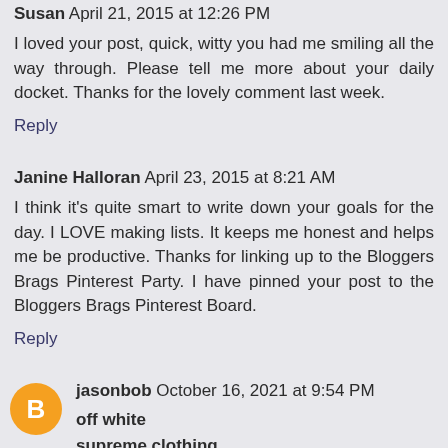Susan April 21, 2015 at 12:26 PM
I loved your post, quick, witty you had me smiling all the way through. Please tell me more about your daily docket. Thanks for the lovely comment last week.
Reply
Janine Halloran April 23, 2015 at 8:21 AM
I think it's quite smart to write down your goals for the day. I LOVE making lists. It keeps me honest and helps me be productive. Thanks for linking up to the Bloggers Brags Pinterest Party. I have pinned your post to the Bloggers Brags Pinterest Board.
Reply
jasonbob October 16, 2021 at 9:54 PM
off white
supreme clothing
curry shoes
yeezy 500